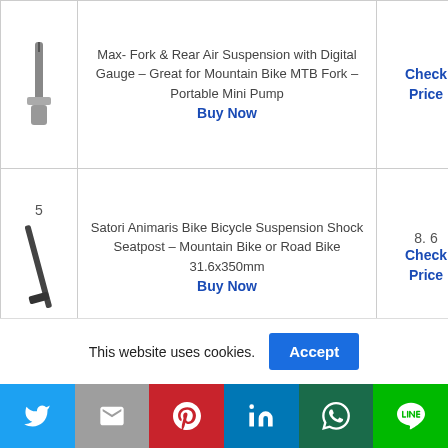| # | Product | Score / Price |
| --- | --- | --- |
| (4) | Max- Fork & Rear Air Suspension with Digital Gauge – Great for Mountain Bike MTB Fork – Portable Mini Pump
Buy Now | Check Price |
| 5 | Satori Animaris Bike Bicycle Suspension Shock Seatpost – Mountain Bike or Road Bike 31.6x350mm
Buy Now | 8. 6
Check Price |
| 6 | idem Smart Bike Taillight w/Saddle Mount: Auto On/Off w/Motion & Lighting Sensing; 2... | 8. 2
Check Price |
This website uses cookies.
Accept